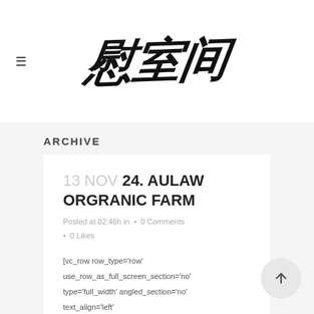[Figure (logo): Chinese calligraphy logo with hamburger menu icon on the left]
ARCHIVE
13 NOV 24. AULAW ORGRANIC FARM
Posted at 02:46h in • 0 Comments • 0 Likes
[vc_row row_type='row' use_row_as_full_screen_section='no' type='full_width' angled_section='no' text_align='left' background_image_as_pattern='without_pattern'